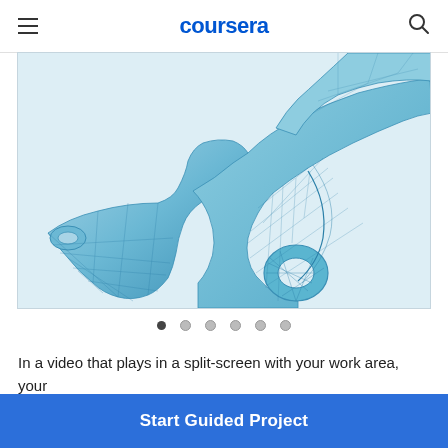coursera
[Figure (engineering-diagram): 3D mesh render of a mechanical bracket/connector part with complex curved geometry, shown in blue wireframe style on light gray background]
In a video that plays in a split-screen with your work area, your
Start Guided Project